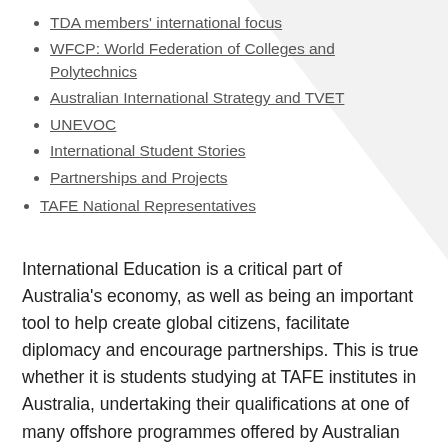TDA members' international focus
WFCP: World Federation of Colleges and Polytechnics
Australian International Strategy and TVET
UNEVOC
International Student Stories
Partnerships and Projects
TAFE National Representatives
International Education is a critical part of Australia's economy, as well as being an important tool to help create global citizens, facilitate diplomacy and encourage partnerships. This is true whether it is students studying at TAFE institutes in Australia, undertaking their qualifications at one of many offshore programmes offered by Australian